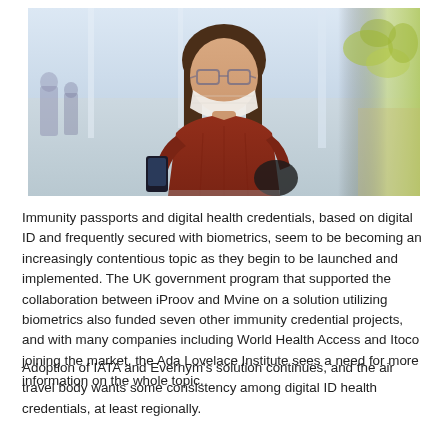[Figure (photo): A young woman wearing a face mask and a red sweater looks at her smartphone while walking through an airport terminal. She carries a backpack. The background shows an airy, well-lit indoor space with other travelers and greenery visible.]
Immunity passports and digital health credentials, based on digital ID and frequently secured with biometrics, seem to be becoming an increasingly contentious topic as they begin to be launched and implemented. The UK government program that supported the collaboration between iProov and Mvine on a solution utilizing biometrics also funded seven other immunity credential projects, and with many companies including World Health Access and Itoco joining the market, the Ada Lovelace Institute sees a need for more information on the whole topic.
Adoption of IATA and Evernym's solution continues, and the air travel body wants some consistency among digital ID health credentials, at least regionally.